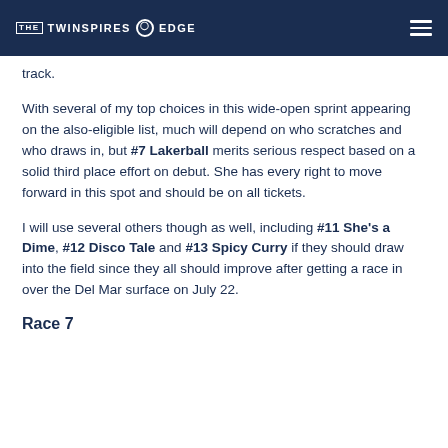THE TWINSPIRES EDGE
track.
With several of my top choices in this wide-open sprint appearing on the also-eligible list, much will depend on who scratches and who draws in, but #7 Lakerball merits serious respect based on a solid third place effort on debut. She has every right to move forward in this spot and should be on all tickets.
I will use several others though as well, including #11 She’s a Dime, #12 Disco Tale and #13 Spicy Curry if they should draw into the field since they all should improve after getting a race in over the Del Mar surface on July 22.
Race 7